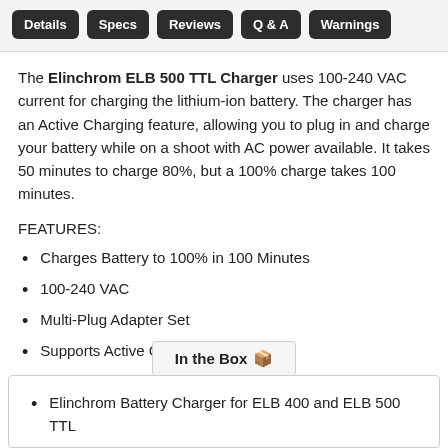Details | Specs | Reviews | Q & A | Warnings
The Elinchrom ELB 500 TTL Charger uses 100-240 VAC current for charging the lithium-ion battery. The charger has an Active Charging feature, allowing you to plug in and charge your battery while on a shoot with AC power available. It takes 50 minutes to charge 80%, but a 100% charge takes 100 minutes.
FEATURES:
Charges Battery to 100% in 100 Minutes
100-240 VAC
Multi-Plug Adapter Set
Supports Active Charging
In the Box 📦
Elinchrom Battery Charger for ELB 400 and ELB 500 TTL